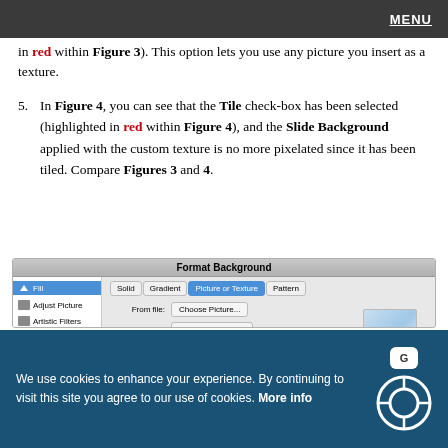MENU
in red within Figure 3). This option lets you use any picture you insert as a texture.
5. In Figure 4, you can see that the Tile check-box has been selected (highlighted in red within Figure 4), and the Slide Background applied with the custom texture is no more pixelated since it has been tiled. Compare Figures 3 and 4.
[Figure (screenshot): Format Background dialog box in a presentation application showing Fill options panel on left (Fill selected/highlighted in blue, Adjust Picture, Artistic Filters, Crop), and on the right tabs: Solid, Gradient, Picture or Texture (active/highlighted), Pattern. Fields shown: From file: Choose Picture... button, From texture: Choose Texture dropdown, a preview image of a light blue texture, Transparency: slider from 0 to 100 with value 0%.]
We use cookies to enhance your experience. By continuing to visit this site you agree to our use of cookies. More info